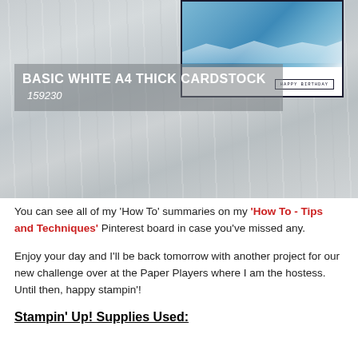[Figure (photo): Photo of a whitewashed wood surface with a birthday card in the top right corner featuring an ocean wave design and 'HAPPY BIRTHDAY' text. A semi-transparent overlay box shows product text.]
BASIC WHITE A4 THICK CARDSTOCK
159230
You can see all of my 'How To' summaries on my 'How To - Tips and Techniques' Pinterest board in case you've missed any.
Enjoy your day and I'll be back tomorrow with another project for our new challenge over at the Paper Players where I am the hostess. Until then, happy stampin'!
Stampin' Up! Supplies Used: